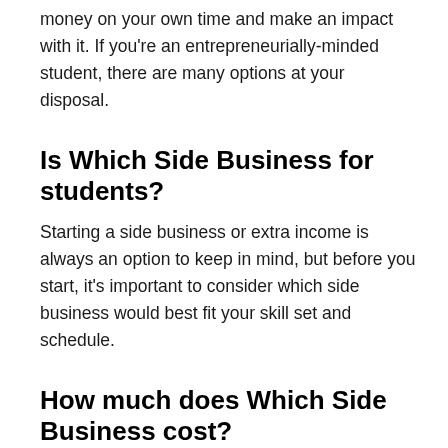money on your own time and make an impact with it. If you're an entrepreneurially-minded student, there are many options at your disposal.
Is Which Side Business for students?
Starting a side business or extra income is always an option to keep in mind, but before you start, it's important to consider which side business would best fit your skill set and schedule.
How much does Which Side Business cost?
To run a successful Which Side business, you have to plan ahead and save money. Launching any kind of business requires capital, but remember that your business doesn't have to cost more than it makes.